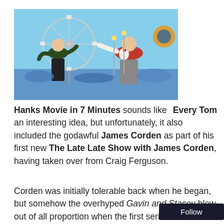[Figure (photo): Two men at an amusement park with a Ferris wheel in the background. One man on the left wears a dark green top, the other on the right wears a red and white varsity jacket. They appear to be interacting energetically.]
Every Tom Hanks Movie in 7 Minutes sounds like an interesting idea, but unfortunately, it also included the godawful James Corden as part of his first new The Late Late Show with James Corden, having taken over from Craig Ferguson.
Corden was initially tolerable back when he began, but somehow the overhyped Gavin and Stacey blew out of all proportion when the first series